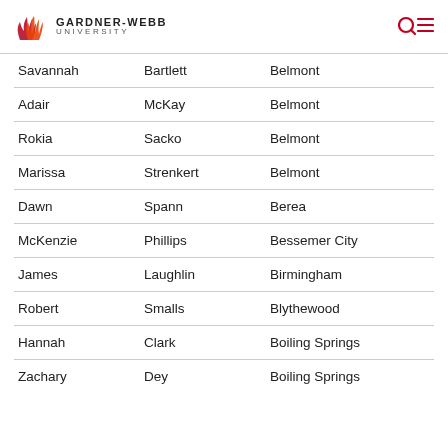GARDNER-WEBB UNIVERSITY
| Savannah | Bartlett | Belmont |
| Adair | McKay | Belmont |
| Rokia | Sacko | Belmont |
| Marissa | Strenkert | Belmont |
| Dawn | Spann | Berea |
| McKenzie | Phillips | Bessemer City |
| James | Laughlin | Birmingham |
| Robert | Smalls | Blythewood |
| Hannah | Clark | Boiling Springs |
| Zachary | Dey | Boiling Springs |